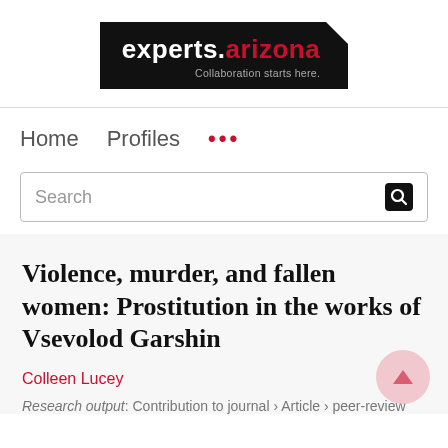[Figure (logo): experts.arizona logo — black background rectangle with white text 'experts.' and red text 'arizona', tagline 'Collaboration starts here.' in grey, corner notch top-right]
Home   Profiles   ...
Search
Violence, murder, and fallen women: Prostitution in the works of Vsevolod Garshin
Colleen Lucey
Research output: Contribution to journal › Article › peer-review